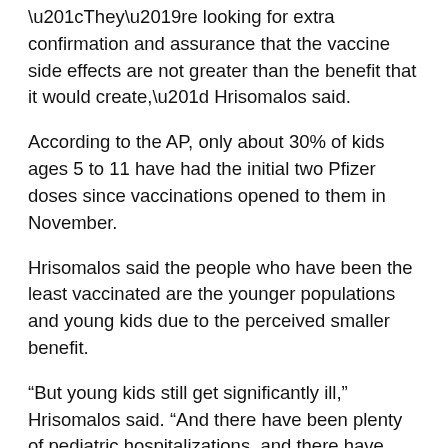“They’re looking for extra confirmation and assurance that the vaccine side effects are not greater than the benefit that it would create,” Hrisomalos said.
According to the AP, only about 30% of kids ages 5 to 11 have had the initial two Pfizer doses since vaccinations opened to them in November.
Hrisomalos said the people who have been the least vaccinated are the younger populations and young kids due to the perceived smaller benefit.
“But young kids still get significantly ill,” Hrisomalos said. “And there have been plenty of pediatric hospitalizations, and there have been systemic inflammatory response syndrome reactions and so it’s not a benign illness.”
And even though most young kids who get COVID recover well, Hrisomalos said, it’s unknown if it may have other long term side effects.
“We do have a very effective vaccine,” Hrisomalos said. “And it’s being analyzed and looked at very carefully, especially for young